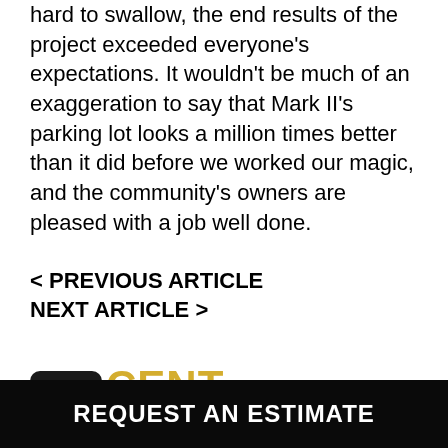hard to swallow, the end results of the project exceeded everyone's expectations. It wouldn't be much of an exaggeration to say that Mark II's parking lot looks a million times better than it did before we worked our magic, and the community's owners are pleased with a job well done.
< PREVIOUS ARTICLE
NEXT ARTICLE >
RECENT STORIES
REQUEST AN ESTIMATE